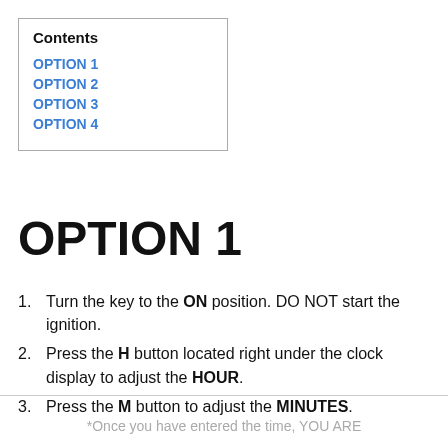| Contents |
| --- |
| OPTION 1 |
| OPTION 2 |
| OPTION 3 |
| OPTION 4 |
OPTION 1
Turn the key to the ON position. DO NOT start the ignition.
Press the H button located right under the clock display to adjust the HOUR.
Press the M button to adjust the MINUTES.
*Once you have entered the time, YOU ARE